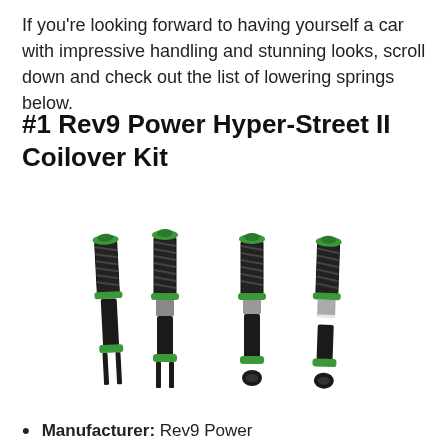If you're looking forward to having yourself a car with impressive handling and stunning looks, scroll down and check out the list of lowering springs below.
#1 Rev9 Power Hyper-Street II Coilover Kit
[Figure (photo): Four Rev9 Power Hyper-Street II coilover shock absorbers with black bodies, green spring perches and rings, standing side by side on a white background.]
Manufacturer: Rev9 Power